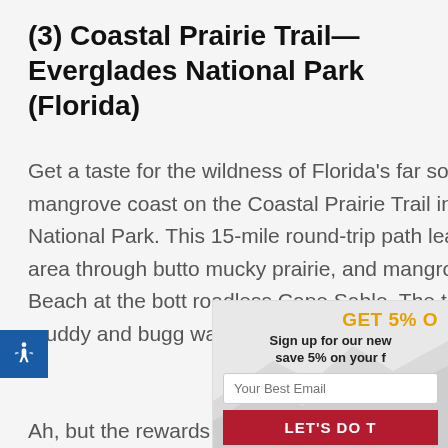(3) Coastal Prairie Trail—Everglades National Park (Florida)
Get a taste for the wildness of Florida's far southwestern mangrove coast on the Coastal Prairie Trail in Everglades National Park. This 15-mile round-trip path leads Flamingo area through butto mucky prairie, and mangrov Clubhouse Beach at the bott roadless Cape Sable. The tr sometimes muddy and bugg water and wear sun protecti exposed route.
Ah, but the rewards from the
[Figure (screenshot): Popup overlay showing newsletter signup: 'GET 5% O' headline in orange, 'Sign up for our new save 5% on your f' subtext, email input field, and red 'LET'S DO T' button]
[Figure (illustration): Blue accessibility icon button on the left edge showing a person figure in white]